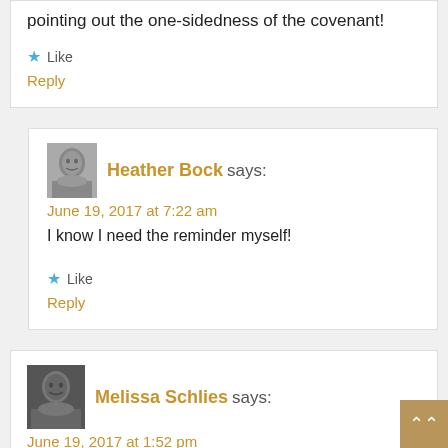pointing out the one-sidedness of the covenant!
Like
Reply
[Figure (photo): Black and white avatar photo of Heather Bock]
Heather Bock says:
June 19, 2017 at 7:22 am
I know I need the reminder myself!
Like
Reply
[Figure (photo): Color avatar photo of Melissa Schlies]
Melissa Schlies says:
June 19, 2017 at 1:52 pm